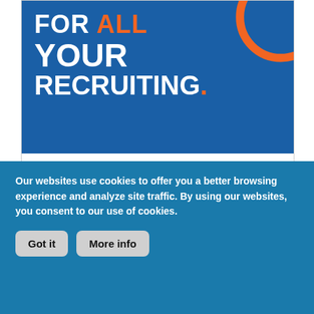[Figure (illustration): CareerEngineer recruiting advertisement banner with blue background showing bold white text 'FOR ALL YOUR RECRUITING.' with orange accent color, CareerEngineer logo, and orange START HERE button]
[Figure (illustration): Teal colored section visible below the ad banner]
Our websites use cookies to offer you a better browsing experience and analyze site traffic. By using our websites, you consent to our use of cookies.
Got it    More info